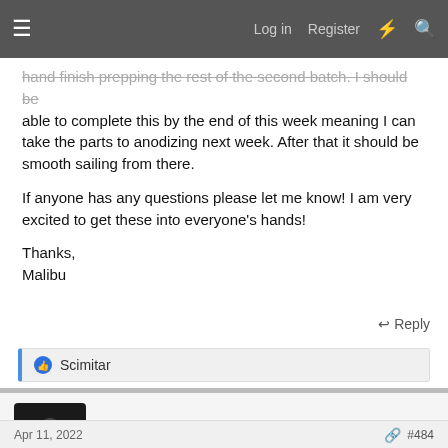Log in   Register
hand finish prepping the rest of the second batch. I should be able to complete this by the end of this week meaning I can take the parts to anodizing next week. After that it should be smooth sailing from there.

If anyone has any questions please let me know! I am very excited to get these into everyone's hands!

Thanks,
Malibu
Reply
Scimitar
Malibu139
Sr Member   RPF PREMIUM MEMBER
Apr 11, 2022   #484